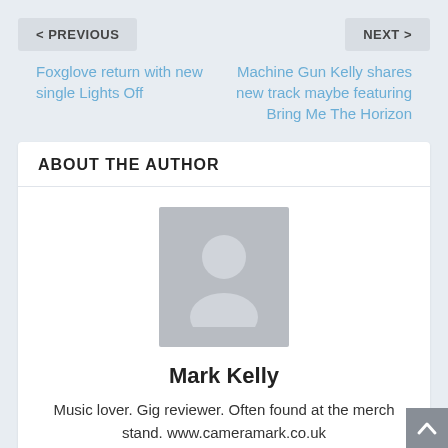< PREVIOUS
Foxglove return with new single Lights Off
NEXT >
Machine Gun Kelly shares new track maybe featuring Bring Me The Horizon
ABOUT THE AUTHOR
[Figure (photo): Generic grey avatar placeholder showing a silhouette of a person]
Mark Kelly
Music lover. Gig reviewer. Often found at the merch stand. www.cameramark.co.uk